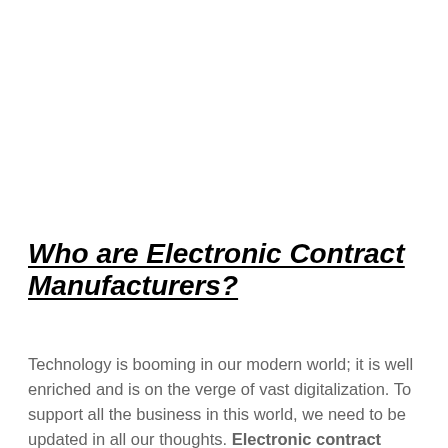Who are Electronic Contract Manufacturers?
Technology is booming in our modern world; it is well enriched and is on the verge of vast digitalization. To support all the business in this world, we need to be updated in all our thoughts. Electronic contract manufacturers are those who take orders